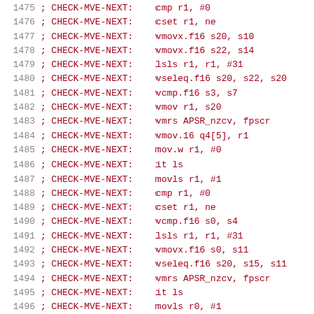1475 ; CHECK-MVE-NEXT: cmp r1, #0
1476 ; CHECK-MVE-NEXT: cset r1, ne
1477 ; CHECK-MVE-NEXT: vmovx.f16 s20, s10
1478 ; CHECK-MVE-NEXT: vmovx.f16 s22, s14
1479 ; CHECK-MVE-NEXT: lsls r1, r1, #31
1480 ; CHECK-MVE-NEXT: vseleq.f16 s20, s22, s20
1481 ; CHECK-MVE-NEXT: vcmp.f16 s3, s7
1482 ; CHECK-MVE-NEXT: vmov r1, s20
1483 ; CHECK-MVE-NEXT: vmrs APSR_nzcv, fpscr
1484 ; CHECK-MVE-NEXT: vmov.16 q4[5], r1
1485 ; CHECK-MVE-NEXT: mov.w r1, #0
1486 ; CHECK-MVE-NEXT: it ls
1487 ; CHECK-MVE-NEXT: movls r1, #1
1488 ; CHECK-MVE-NEXT: cmp r1, #0
1489 ; CHECK-MVE-NEXT: cset r1, ne
1490 ; CHECK-MVE-NEXT: vcmp.f16 s0, s4
1491 ; CHECK-MVE-NEXT: lsls r1, r1, #31
1492 ; CHECK-MVE-NEXT: vmovx.f16 s0, s11
1493 ; CHECK-MVE-NEXT: vseleq.f16 s20, s15, s11
1494 ; CHECK-MVE-NEXT: vmrs APSR_nzcv, fpscr
1495 ; CHECK-MVE-NEXT: it ls
1496 ; CHECK-MVE-NEXT: movls r0, #1